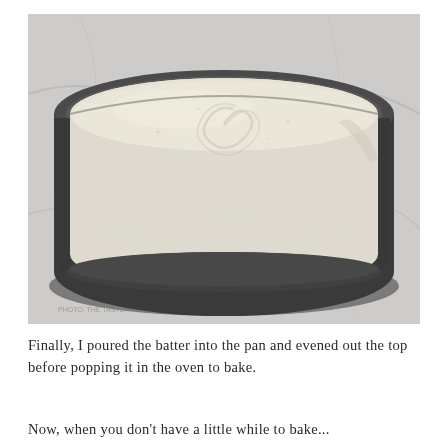[Figure (photo): A round springform baking pan filled with smooth, pale cream-colored cheesecake batter, swirled on top, sitting on a marble or granite countertop surface.]
Finally, I poured the batter into the pan and evened out the top before popping it in the oven to bake.
Now, when you don't have a little while to bake...